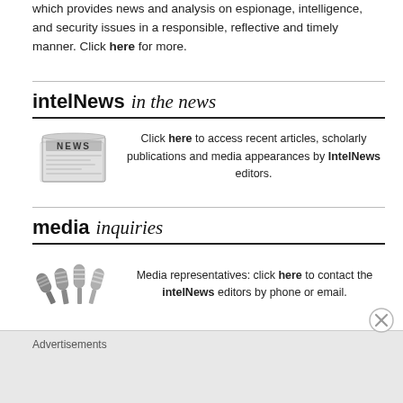which provides news and analysis on espionage, intelligence, and security issues in a responsible, reflective and timely manner. Click here for more.
intelNews in the news
Click here to access recent articles, scholarly publications and media appearances by IntelNews editors.
media inquiries
Media representatives: click here to contact the intelNews editors by phone or email.
Advertisements